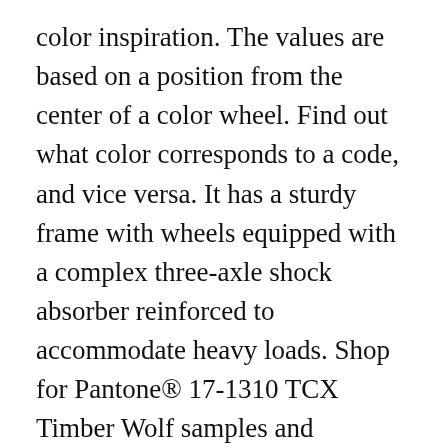color inspiration. The values are based on a position from the center of a color wheel. Find out what color corresponds to a code, and vice versa. It has a sturdy frame with wheels equipped with a complex three-axle shock absorber reinforced to accommodate heavy loads. Shop for Pantone® 17-1310 TCX Timber Wolf samples and products on Pantone. RAL 1012 Colour. These are the Portland Timbers color codes if you need them for any of your digital projects. Quickly find a color RGB code combination. RAL 1013 Colour. HSB. RAL 1021 Colour. The Portland Timbers colors are Green and Gold. RAL 1003 Colour. View Product ... RGB Building Supplies is a trading name of Rawle Gammon & Baker Holdings Ltd. Head